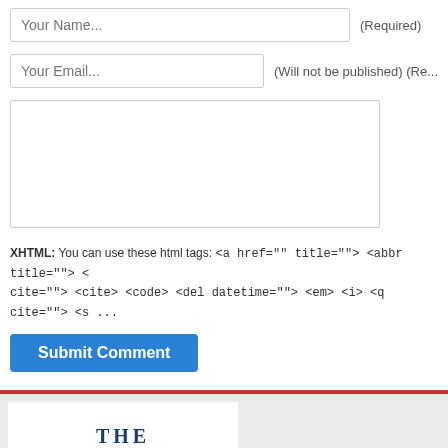Your Name... (Required)
Your Email... (Will not be published) (Req...
XHTML: You can use these html tags: <a href="" title=""> <abbr title=""> < cite=""> <cite> <code> <del datetime=""> <em> <i> <q cite=""> <s ...
Submit Comment
[Figure (logo): The Riviera Maya Times — News you can rely on]
HOME   CONTACT